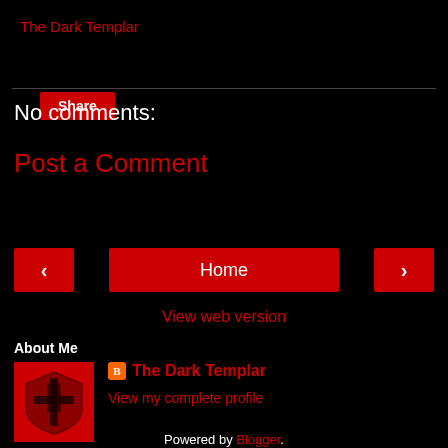The Dark Templar
Share
No comments:
Post a Comment
< Home >
View web version
About Me
[Figure (illustration): Dark Templar shield logo on red background]
The Dark Templar
View my complete profile
Powered by Blogger.